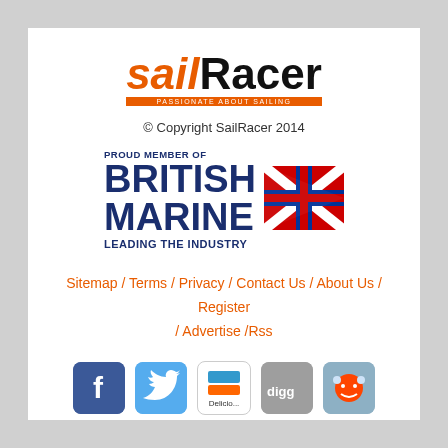[Figure (logo): SailRacer logo with orange italic 'sail' and bold black 'Racer', orange tagline bar reading 'PASSIONATE ABOUT SAILING']
© Copyright SailRacer 2014
[Figure (logo): British Marine logo: 'PROUD MEMBER OF BRITISH MARINE LEADING THE INDUSTRY' with Union Jack chevron graphic]
Sitemap / Terms / Privacy / Contact Us / About Us / Register / Advertise /Rss
[Figure (infographic): Social media icons: Facebook, Twitter, Delicious, Digg, Reddit]